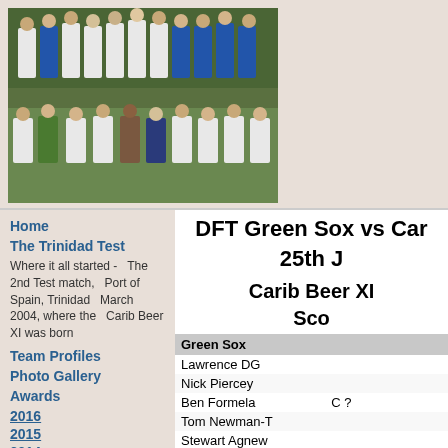[Figure (photo): Group photo of cricket team members, two rows, wearing white and blue sports kits, outdoor setting with trees in background]
Home
The Trinidad Test
Where it all started - The 2nd Test match, Port of Spain, Trinidad March 2004, where the Carib Beer XI was born
Team Profiles
Photo Gallery
Awards
2016
2015
2014
2013
2012
DFT Green Sox vs Car
25th J
Carib Beer XI
Sco
| Green Sox |  |  |
| --- | --- | --- |
| Lawrence DG |  |  |
| Nick Piercey |  |  |
| Ben Formela | C ? |  |
| Tom Newman-T |  |  |
| Stewart Agnew |  |  |
| Doherty | C ? |  |
| Leonard | C ? |  |
| Grocott |  |  |
| Howe |  |  |